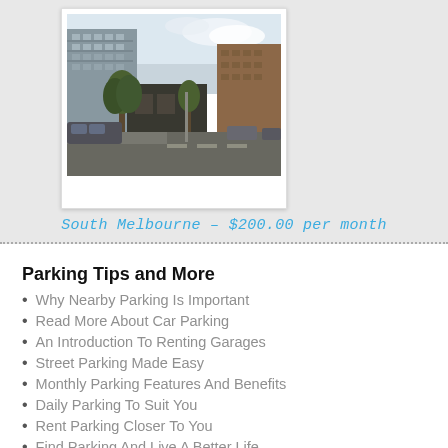[Figure (photo): Polaroid-style photo of a street scene in South Melbourne showing multi-storey apartment buildings, trees, and parked cars on a city street with overcast sky]
South Melbourne – $200.00 per month
Parking Tips and More
Why Nearby Parking Is Important
Read More About Car Parking
An Introduction To Renting Garages
Street Parking Made Easy
Monthly Parking Features And Benefits
Daily Parking To Suit You
Rent Parking Closer To You
Find Parking And Live A Better Life